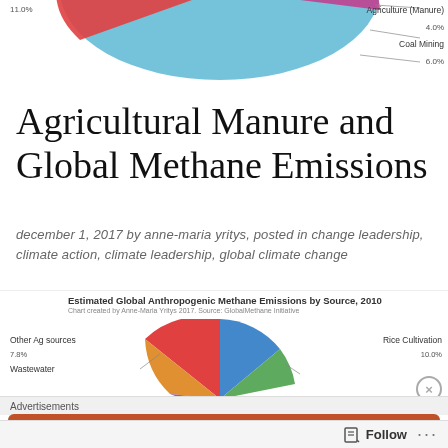[Figure (pie-chart): Partial pie chart fragment at top of page showing estimated global anthropogenic methane emissions by source 2010, with Agriculture (Manure) 4.0%, Coal Mining 6.0%, and 11.0% visible]
Agriculture (Manure)
4.0%
Coal Mining
6.0%
Agricultural Manure and Global Methane Emissions
december 1, 2017 by anne-maria yritys, posted in change leadership, climate action, climate leadership, global climate change
[Figure (pie-chart): Partial pie chart showing Estimated Global Anthropogenic Methane Emissions by Source, 2010. Chart created by Anne-Maria Yritys 2017. Source: Global Methane Initiative. Visible labels: Other Ag sources 7.8%, Wastewater, Rice Cultivation 10.0%]
Estimated Global Anthropogenic Methane Emissions by Source, 2010
Chart created by Anne-Maria Yritys 2017. Source: Global Methane Initiative
Advertisements
[Figure (other): Advertisement banner for DuckDuckGo: Search, browse, and email with more privacy.]